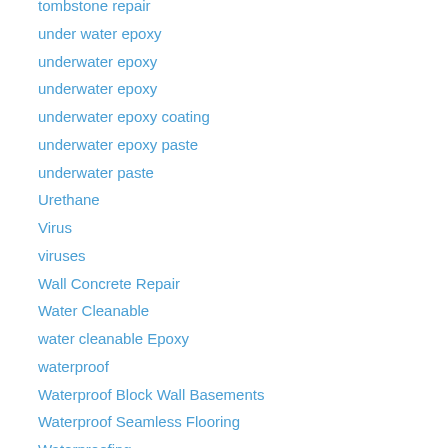tombstone repair
under water epoxy
underwater epoxy
underwater epoxy
underwater epoxy coating
underwater epoxy paste
underwater paste
Urethane
Virus
viruses
Wall Concrete Repair
Water Cleanable
water cleanable Epoxy
waterproof
Waterproof Block Wall Basements
Waterproof Seamless Flooring
Waterproofing
Waterproofing Block Walls
Winter cure
Winter installation